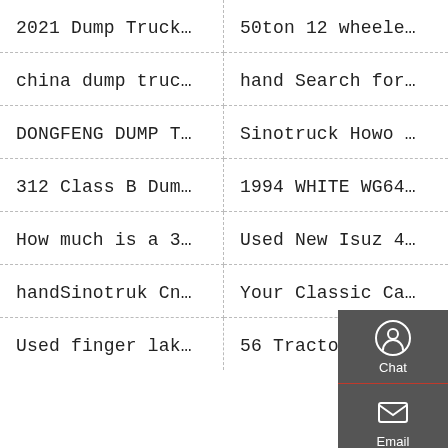2021 Dump Truck…
50ton 12 wheele…
china dump truc…
hand Search for…
DONGFENG DUMP T…
Sinotruck Howo …
312 Class B Dum…
1994 WHITE WG64…
How much is a 3…
Used New Isuz 4…
handSinotruk Cn…
Your Classic Ca…
Used finger lak…
56 Tractor Pull…
[Figure (infographic): Floating sidebar with icons for Chat, Email, Contact, and Top navigation on a dark grey background]